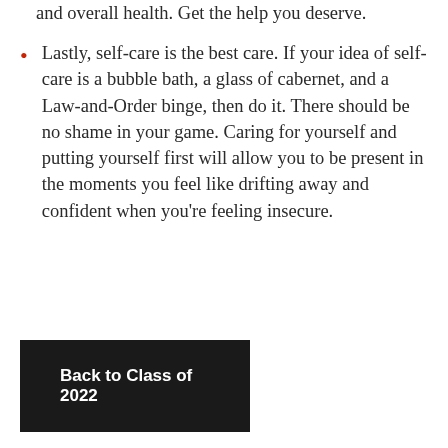and overall health. Get the help you deserve.
Lastly, self-care is the best care. If your idea of self-care is a bubble bath, a glass of cabernet, and a Law-and-Order binge, then do it. There should be no shame in your game. Caring for yourself and putting yourself first will allow you to be present in the moments you feel like drifting away and confident when you're feeling insecure.
Back to Class of 2022